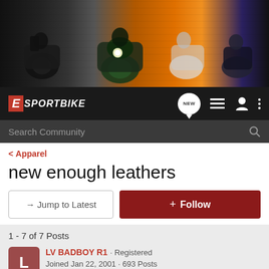[Figure (photo): Sportbike website banner with motorcycles and riders on colorful dynamic background]
E SPORTBIKE - navigation bar with logo, NEW chat button, list icon, user icon, and more options icon
Search Community
< Apparel
new enough leathers
→ Jump to Latest
+ Follow
1 - 7 of 7 Posts
LV BADBOY R1 · Registered
Joined Jan 22, 2001 · 693 Posts